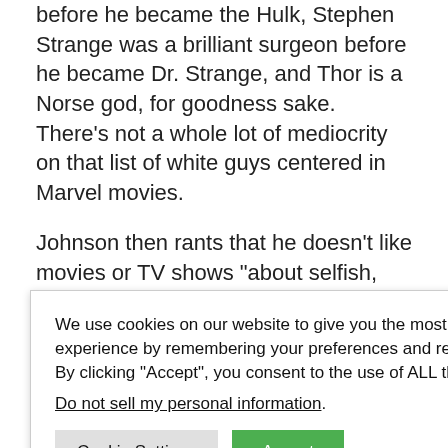before he became the Hulk, Stephen Strange was a brilliant surgeon before he became Dr. Strange, and Thor is a Norse god, for goodness sake. There's not a whole lot of mediocrity on that list of white guys centered in Marvel movies.
Johnson then rants that he doesn't like movies or TV shows "about selfish, privileged mediocre white men who stumble through life, making costly mistakes that
We use cookies on our website to give you the most relevant experience by remembering your preferences and repeat visits. By clicking "Accept", you consent to the use of ALL the cookies.
Do not sell my personal information.
[Cookie Settings] [Accept]
omehow in the as a big fan of k man who all Street instead , like working- a hero in
ws "what real heroism, through Black guy magic, can actually look like."